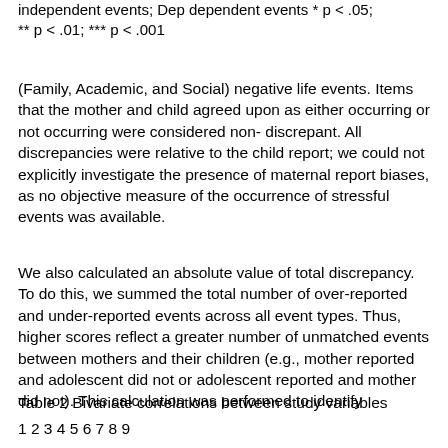independent events; Dep dependent events * p < .05; ** p < .01; *** p < .001
(Family, Academic, and Social) negative life events. Items that the mother and child agreed upon as either occurring or not occurring were considered non-discrepant. All discrepancies were relative to the child report; we could not explicitly investigate the presence of maternal report biases, as no objective measure of the occurrence of stressful events was available.
We also calculated an absolute value of total discrepancy. To do this, we summed the total number of over-reported and under-reported events across all event types. Thus, higher scores reflect a greater number of unmatched events between mothers and their children (e.g., mother reported and adolescent did not or adolescent reported and mother did not). This calculation was performed to identify
Table 2 Bivariate correlations between study variables
1 2 3 4 5 6 7 8 9
...